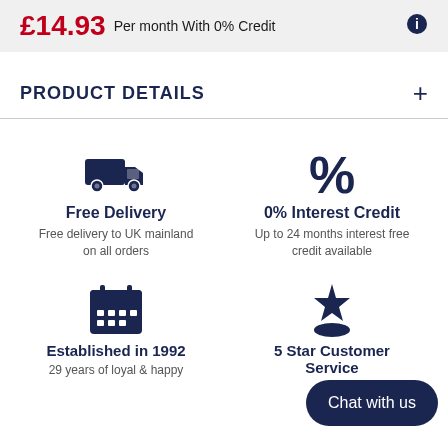£14.93 Per month With 0% Credit
PRODUCT DETAILS +
[Figure (illustration): Delivery truck icon (dark navy)]
Free Delivery
Free delivery to UK mainland on all orders
[Figure (illustration): Percentage symbol icon (dark navy)]
0% Interest Credit
Up to 24 months interest free credit available
[Figure (illustration): Calendar icon (dark navy)]
Established in 1992
29 years of loyal & happy
[Figure (illustration): Star/badge icon (dark navy) partially covered by Chat with us bubble]
5 Star Customer Service
[Figure (illustration): Chat with us bubble overlay]